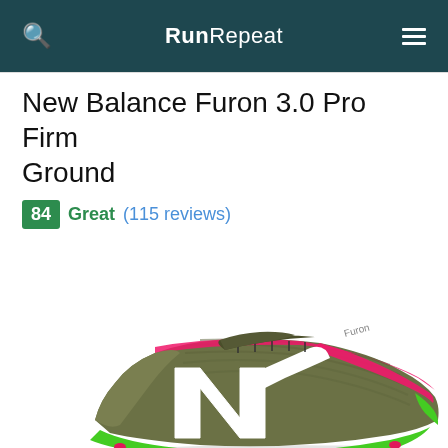RunRepeat
New Balance Furon 3.0 Pro Firm Ground
84  Great (115 reviews)
[Figure (photo): New Balance Furon 3.0 Pro Firm Ground soccer cleat, olive/khaki color with pink and green accents, white New Balance 'N' logo on the side, viewed from the lateral side.]
No offers available